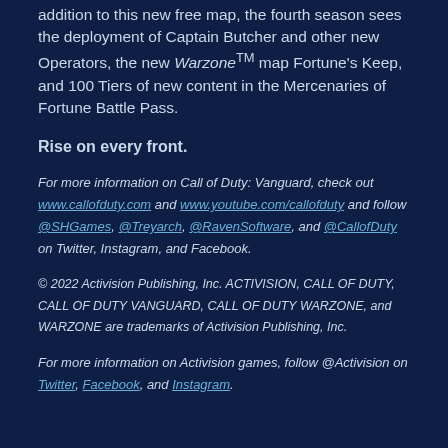addition to this new free map, the fourth season sees the deployment of Captain Butcher and other new Operators, the new Warzone™ map Fortune's Keep, and 100 Tiers of new content in the Mercenaries of Fortune Battle Pass.
Rise on every front.
For more information on Call of Duty: Vanguard, check out www.callofduty.com and www.youtube.com/callofduty and follow @SHGames, @Treyarch, @RavenSoftware, and @CallofDuty on Twitter, Instagram, and Facebook.
© 2022 Activision Publishing, Inc. ACTIVISION, CALL OF DUTY, CALL OF DUTY VANGUARD, CALL OF DUTY WARZONE, and WARZONE are trademarks of Activision Publishing, Inc.
For more information on Activision games, follow @Activision on Twitter, Facebook, and Instagram.